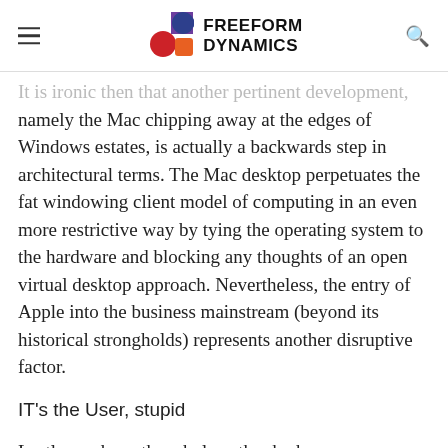Freeform Dynamics
It is ironic then that another pertinent development, namely the Mac chipping away at the edges of Windows estates, is actually a backwards step in architectural terms. The Mac desktop perpetuates the fat windowing client model of computing in an even more restrictive way by tying the operating system to the hardware and blocking any thoughts of an open virtual desktop approach. Nevertheless, the entry of Apple into the business mainstream (beyond its historical strongholds) represents another disruptive factor.
IT's the User, stupid
Lastly, we have the whole netbook phenomenon. While the jury might still be out on whether Microsoft or the Open Source camp have won the battle around smaller